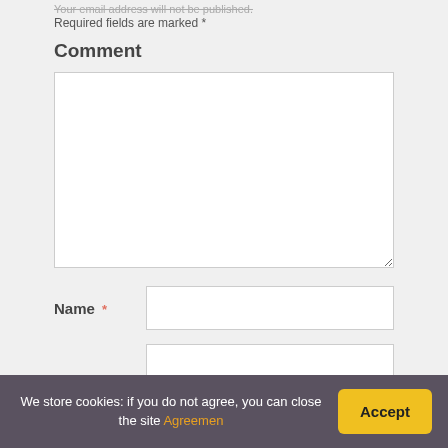Your email address will not be published. Required fields are marked *
Comment
Name *
We store cookies: if you do not agree, you can close the site Agreemen
Accept